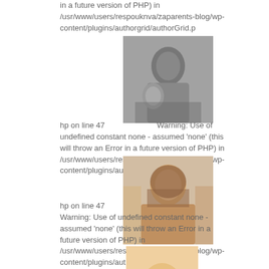in a future version of PHP) in /usr/www/users/respouknva/zaparents-blog/wp-content/plugins/authorgrid/authorGrid.p
[Figure (photo): Black and white photo of a person with a child outdoors]
hp on line 47 Warning: Use of undefined constant none - assumed 'none' (this will throw an Error in a future version of PHP) in /usr/www/users/respouknva/zaparents-blog/wp-content/plugins/authorgrid/authorGrid.p
[Figure (photo): Color photo of a woman with long brown hair]
hp on line 47
Warning: Use of undefined constant none - assumed 'none' (this will throw an Error in a future version of PHP) in /usr/www/users/respouknva/zaparents-blog/wp-content/plugins/authorgrid/authorGrid.p
[Figure (photo): Color photo of a blonde woman, partially visible]